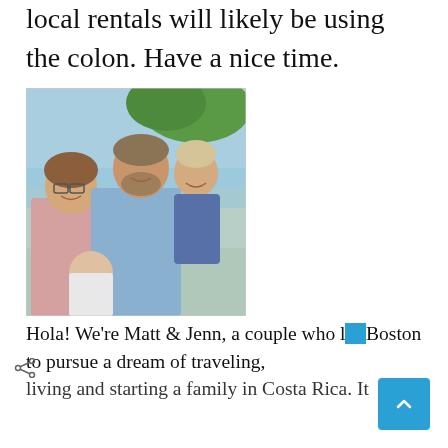local rentals will likely be using the colon. Have a nice time.
[Figure (photo): A family of four — a woman with glasses, a tall man with beard, a toddler boy, and a baby — posing outdoors near water and trees.]
Hola! We're Matt & Jenn, a couple who left Boston to pursue a dream of traveling, living and starting a family in Costa Rica. It